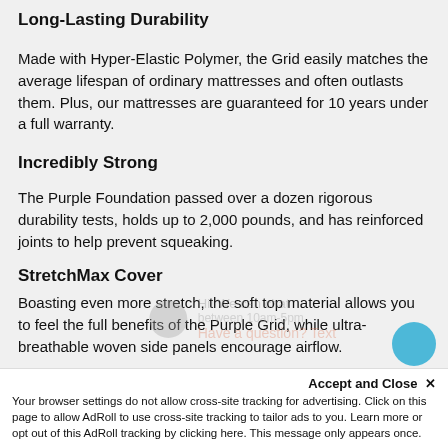Long-Lasting Durability
Made with Hyper-Elastic Polymer, the Grid easily matches the average lifespan of ordinary mattresses and often outlasts them. Plus, our mattresses are guaranteed for 10 years under a full warranty.
Incredibly Strong
The Purple Foundation passed over a dozen rigorous durability tests, holds up to 2,000 pounds, and has reinforced joints to help prevent squeaking.
StretchMax Cover
Boasting even more stretch, the soft top material allows you to feel the full benefits of the Purple Grid, while ultra-breathable woven side panels encourage airflow.
Accept and Close ×
Your browser settings do not allow cross-site tracking for advertising. Click on this page to allow AdRoll to use cross-site tracking to tailor ads to you. Learn more or opt out of this AdRoll tracking by clicking here. This message only appears once.